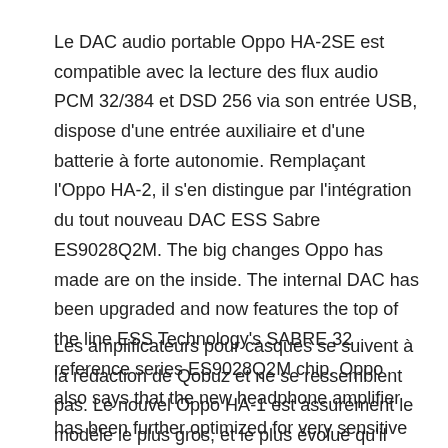Le DAC audio portable Oppo HA-2SE est compatible avec la lecture des flux audio PCM 32/384 et DSD 256 via son entrée USB, dispose d'une entrée auxiliaire et d'une batterie à forte autonomie. Remplaçant l'Oppo HA-2, il s'en distingue par l'intégration du tout nouveau DAC ESS Sabre ES9028Q2M. The big changes Oppo has made are on the inside. The internal DAC has been upgraded and now features the top of the line ESS Technology's SABRE 32 reference series ES9028Q2M chip. Oppo also says that the new headphone amplifier has been further optimized for very sensitive in-ear monitors, with a lower noise floor and higher signal-to-noise ratio over the HA-2.
Les amplificateurs pour casques se suivent à la rédaction de Qobuz et ne se ressemblent pas. Le nouvel Oppo HA-1 est assurément le modèle le plus gros, et le plus évolué qu'il nous